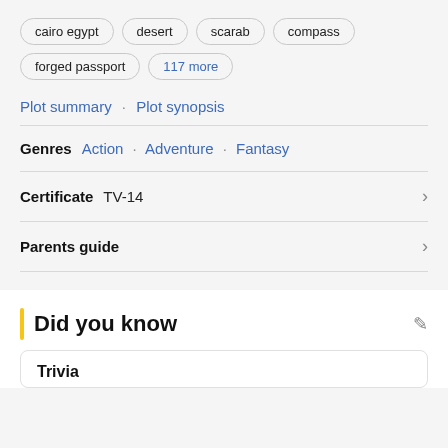cairo egypt
desert
scarab
compass
forged passport
117 more
Plot summary · Plot synopsis
Genres  Action · Adventure · Fantasy
Certificate  TV-14
Parents guide
Did you know
Trivia